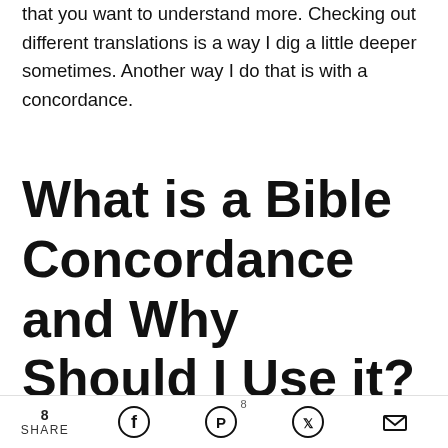that you want to understand more. Checking out different translations is a way I dig a little deeper sometimes. Another way I do that is with a concordance.
What is a Bible Concordance and Why Should I Use it?
I was told that I didn't need a concordance when I first heard about one. It was as a young adult when
8 SHARE [Facebook] [Pinterest] 8 [Twitter] [Email]